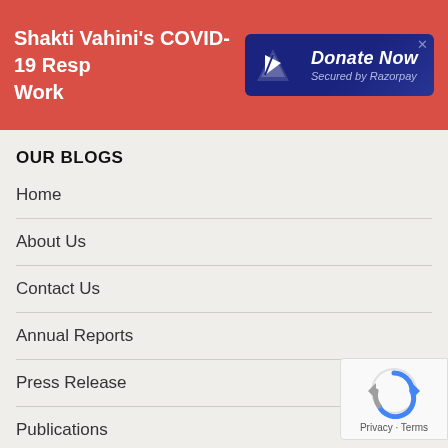Shakti Vahini's COVID-19 Resp Work
[Figure (other): Donate Now button secured by Razorpay with paper plane icon]
OUR BLOGS
Home
About Us
Contact Us
Annual Reports
Press Release
Publications
News
SUBSCRIBE TO BLOG VIA EMAIL